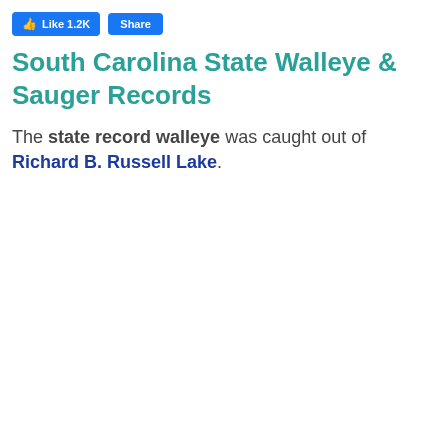[Figure (screenshot): Facebook Like (1.2K) and Share buttons]
South Carolina State Walleye & Sauger Records
The state record walleye was caught out of Richard B. Russell Lake.